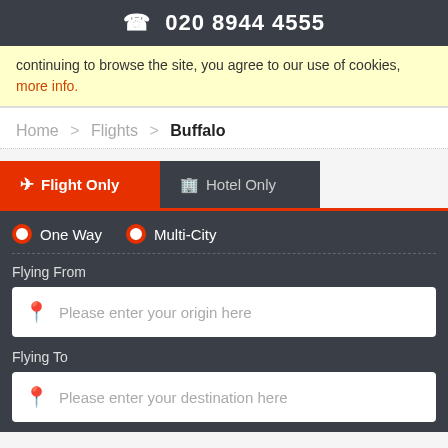020 8944 4555
continuing to browse the site, you agree to our use of cookies, more info.
Home > Flights > Buffalo
✈ Flight Only   🏨 Hotel Only
One Way   Multi-City
Flying From
Please enter your origin here
Flying To
Please enter your destination here